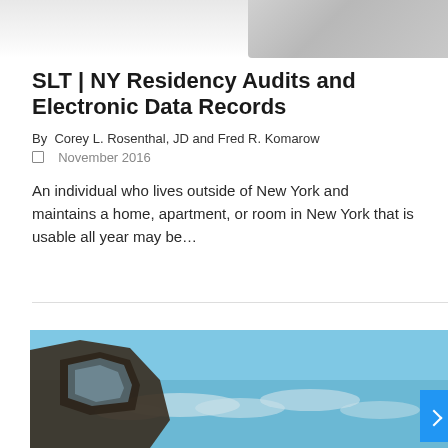[Figure (photo): Top portion of an article card showing a partial photo (light gray/white background with dark object at top right corner)]
SLT | NY Residency Audits and Electronic Data Records
By  Corey L. Rosenthal, JD and Fred R. Komarow
November 2016
An individual who lives outside of New York and maintains a home, apartment, or room in New York that is usable all year may be...
[Figure (photo): Bottom portion showing a photo of a car side mirror against a blue sky with clouds]